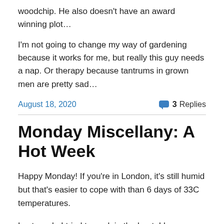woodchip. He also doesn't have an award winning plot…
I'm not going to change my way of gardening because it works for me, but really this guy needs a nap. Or therapy because tantrums in grown men are pretty sad…
August 18, 2020
3 Replies
Monday Miscellany: A Hot Week
Happy Monday! If you're in London, it's still humid but that's easier to cope with than 6 days of 33C temperatures.
Last week, I tried to work in the heat, I have a feeling that